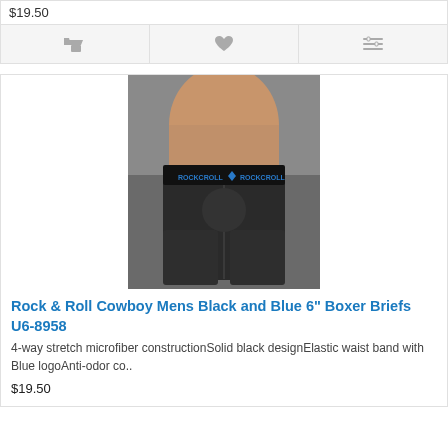$19.50
[Figure (screenshot): Icon row with shopping cart, heart/wishlist, and compare/slider icons on a light grey background]
[Figure (photo): Product photo of Rock & Roll Cowboy Mens Black and Blue 6 inch Boxer Briefs U6-8958, showing a man wearing black boxer briefs with blue Rock & Roll logo waistband]
Rock & Roll Cowboy Mens Black and Blue 6" Boxer Briefs U6-8958
4-way stretch microfiber constructionSolid black designElastic waist band with Blue logoAnti-odor co..
$19.50